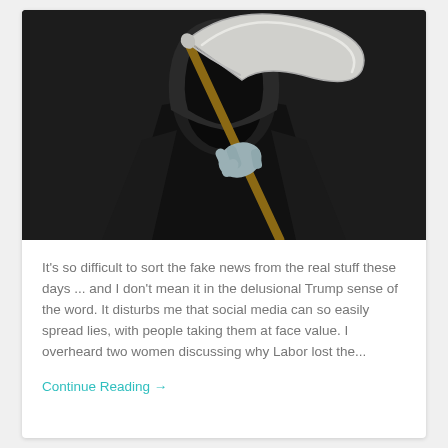[Figure (photo): Photo of a person dressed as the Grim Reaper in a black hooded robe, holding a large scythe, against a dark background. Their face is hidden in shadow under the hood, and they have a grey/blue hand visible gripping the wooden scythe handle.]
It's so difficult to sort the fake news from the real stuff these days ... and I don't mean it in the delusional Trump sense of the word. It disturbs me that social media can so easily spread lies, with people taking them at face value. I overheard two women discussing why Labor lost the...
Continue Reading →